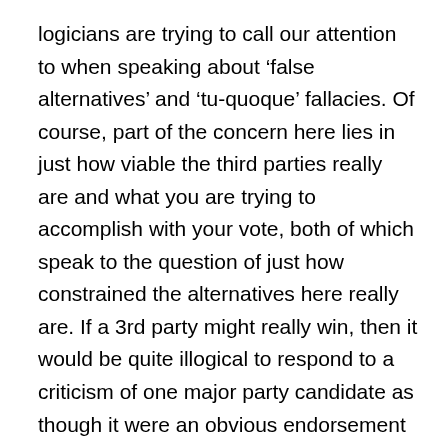logicians are trying to call our attention to when speaking about ‘false alternatives’ and ‘tu-quoque’ fallacies. Of course, part of the concern here lies in just how viable the third parties really are and what you are trying to accomplish with your vote, both of which speak to the question of just how constrained the alternatives here really are. If a 3rd party might really win, then it would be quite illogical to respond to a criticism of one major party candidate as though it were an obvious endorsement of another. Conversely, you may know that the 3rd party is going to lose but choose to vote for them anyway as a means of signaling to the major parties that your support cannot be taken for granted. If enough others vote the same way, this could become leverage in the next election. If a 3rd party candidate is, however, not a serious contender for winning an election, and the election is just